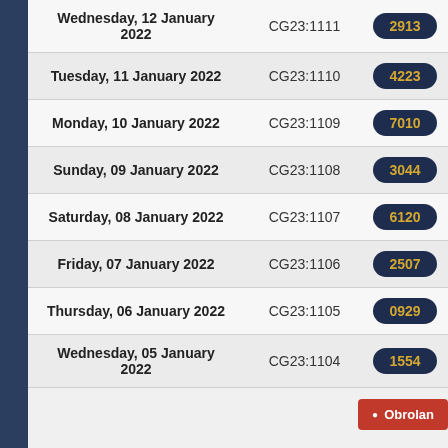| Date | Code | Num1 | Num2 |
| --- | --- | --- | --- |
| Wednesday, 12 January 2022 | CG23:1111 | 2913 | 4428 |
| Tuesday, 11 January 2022 | CG23:1110 | 4223 | 3260 |
| Monday, 10 January 2022 | CG23:1109 | 7010 | 3130 |
| Sunday, 09 January 2022 | CG23:1108 | 3044 | 5618 |
| Saturday, 08 January 2022 | CG23:1107 | 6120 | 8779 |
| Friday, 07 January 2022 | CG23:1106 | 2507 | 3212 |
| Thursday, 06 January 2022 | CG23:1105 | 0929 | 1957 |
| Wednesday, 05 January 2022 | CG23:1104 | 1554 | 8128 |